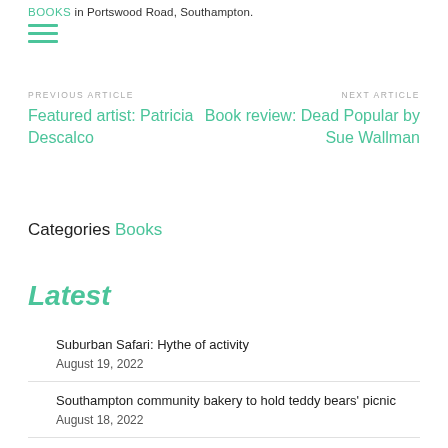Books in Portswood Road, Southampton.
[Figure (other): Hamburger menu icon made of three horizontal green lines]
PREVIOUS ARTICLE
Featured artist: Patricia Descalco
NEXT ARTICLE
Book review: Dead Popular by Sue Wallman
Categories Books
Latest
Suburban Safari: Hythe of activity
August 19, 2022
Southampton community bakery to hold teddy bears' picnic
August 18, 2022
Opinion: should we be worried that Southampton is a Freeport? (hint: yes)